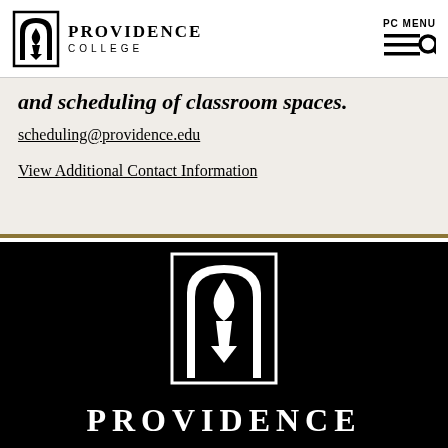[Figure (logo): Providence College logo with torch-flame icon and text PROVIDENCE COLLEGE in header]
and scheduling of classroom spaces.
scheduling@providence.edu
View Additional Contact Information
[Figure (logo): Providence College large white torch-flame logo on black background with PROVIDENCE text below]